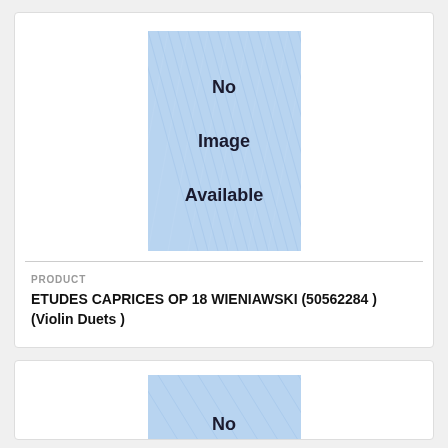[Figure (illustration): No Image Available placeholder image with light blue diagonal pattern background and bold black text reading 'No Image Available']
PRODUCT
ETUDES CAPRICES OP 18 WIENIAWSKI (50562284 ) (Violin Duets )
[Figure (illustration): Partial view of a second No Image Available placeholder image with light blue diagonal pattern background, partially visible]